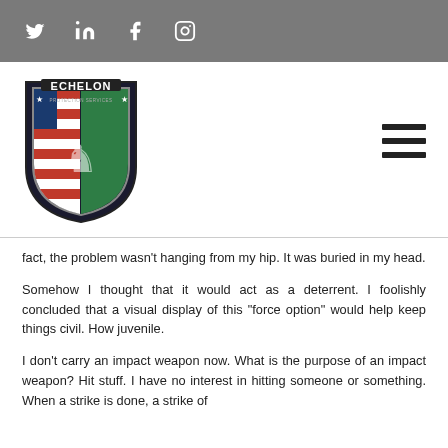Social media icons: Twitter, LinkedIn, Facebook, Instagram
[Figure (logo): Echelon Protection Services shield logo with lion and American flag motif]
fact, the problem wasn't hanging from my hip. It was buried in my head.
Somehow I thought that it would act as a deterrent. I foolishly concluded that a visual display of this “force option” would help keep things civil. How juvenile.
I don’t carry an impact weapon now. What is the purpose of an impact weapon? Hit stuff. I have no interest in hitting someone or something. When a strike is done, a strike of